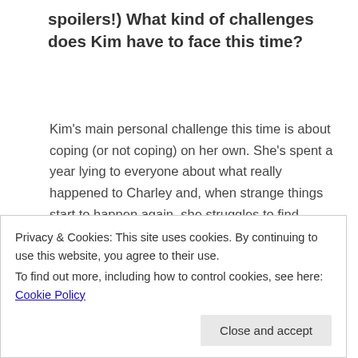spoilers!) What kind of challenges does Kim have to face this time?
Kim's main personal challenge this time is about coping (or not coping) on her own. She's spent a year lying to everyone about what really happened to Charley and, when strange things start to happen again, she struggles to find anyone to turn to.
As I've already mentioned, Sophie is a more prominent character in this book. We get to see the tables turned a little. In Reaper's Rhythm, she was a rock for Kim. In Broken Bargain, Kim has to support her and help her through some tough times.
Privacy & Cookies: This site uses cookies. By continuing to use this website, you agree to their use.
To find out more, including how to control cookies, see here: Cookie Policy